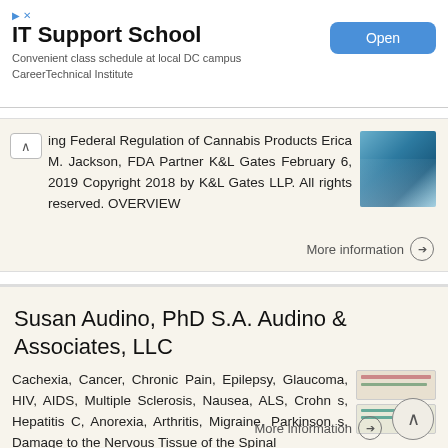[Figure (other): IT Support School advertisement banner with Open button]
ing Federal Regulation of Cannabis Products Erica M. Jackson, FDA Partner K&L Gates February 6, 2019 Copyright 2018 by K&L Gates LLP. All rights reserved. OVERVIEW
More information →
Susan Audino, PhD S.A. Audino & Associates, LLC
Cachexia, Cancer, Chronic Pain, Epilepsy, Glaucoma, HIV, AIDS, Multiple Sclerosis, Nausea, ALS, Crohn s, Hepatitis C, Anorexia, Arthritis, Migraine, Parkinson s, Damage to the Nervous Tissue of the Spinal
More information →